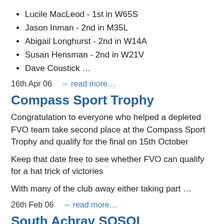Lucile MacLeod - 1st in W65S
Jason Inman - 2nd in M35L
Abigail Longhurst - 2nd in W14A
Susan Hensman - 2nd in W21V
Dave Coustick …
16th Apr 06    → read more…
Compass Sport Trophy
Congratulation to everyone who helped a depleted FVO team take second place at the Compass Sport Trophy and qualify for the final on 15th October
Keep that date free to see whether FVO can qualify for a hat trick of victories
With many of the club away either taking part …
26th Feb 06    → read more…
South Achray SOSOL